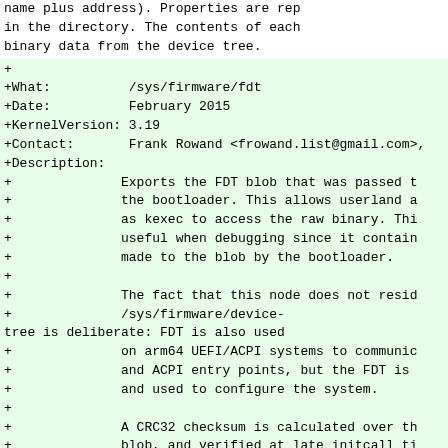name plus address). Properties are rep
in the directory. The contents of each
binary data from the device tree.
+
+What:          /sys/firmware/fdt
+Date:          February 2015
+KernelVersion: 3.19
+Contact:       Frank Rowand <frowand.list@gmail.com>,
+Description:
+              Exports the FDT blob that was passed t
+              the bootloader. This allows userland a
+              as kexec to access the raw binary. Thi
+              useful when debugging since it contain
+              made to the blob by the bootloader.
+
+              The fact that this node does not resid
+              /sys/firmware/device-
tree is deliberate: FDT is also used
+              on arm64 UEFI/ACPI systems to communic
+              and ACPI entry points, but the FDT is
+              and used to configure the system.
+
+              A CRC32 checksum is calculated over th
+              blob, and verified at late_initcall ti
+              entry is instantiated only if the chec